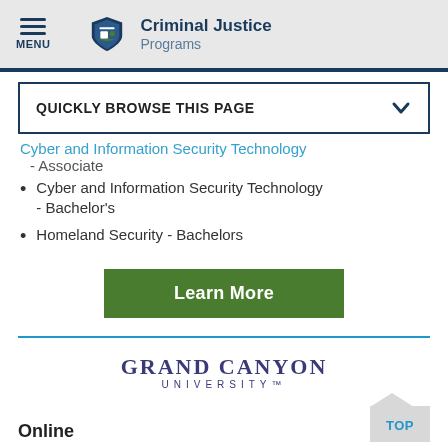MENU | Criminal Justice Programs
QUICKLY BROWSE THIS PAGE
Cyber and Information Security Technology - Associate
Cyber and Information Security Technology - Bachelor's
Homeland Security - Bachelors
Learn More
[Figure (logo): Grand Canyon University logo with text GRAND CANYON UNIVERSITY]
Online